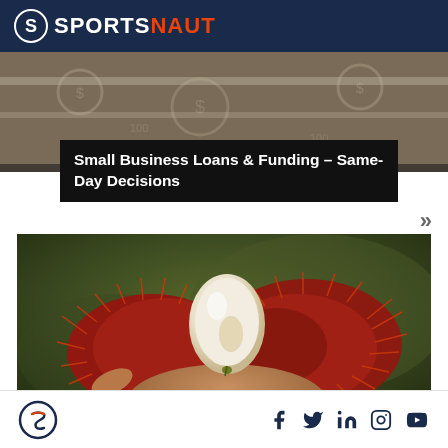SPORTSNAUT
Small Business Loans & Funding – Same-Day Decisions
[Figure (photo): Hand holding an opened rambutan fruit showing white flesh inside the red spiky shell]
Sportsnaut logo with social media icons: Facebook, Twitter, LinkedIn, Instagram, YouTube